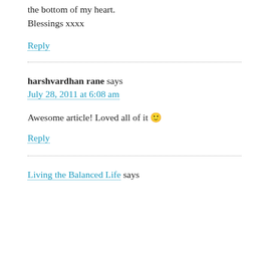the bottom of my heart.
Blessings xxxx
Reply
harshvardhan rane says
July 28, 2011 at 6:08 am
Awesome article! Loved all of it 🙂
Reply
Living the Balanced Life says